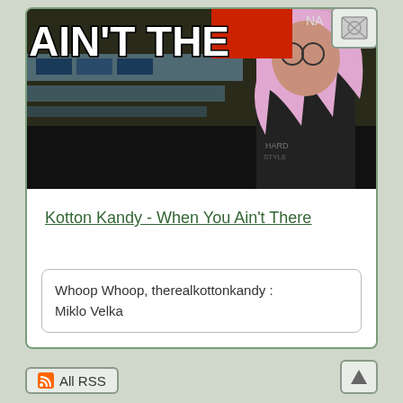[Figure (photo): A meme-style photo showing text 'AIN'T THE' with a red block overlay, and a person with pink/purple hair in a dark shirt, appears to be in a store environment]
Kotton Kandy - When You Ain't There
Whoop Whoop, therealkottonkandy :
Miklo Velka
All RSS